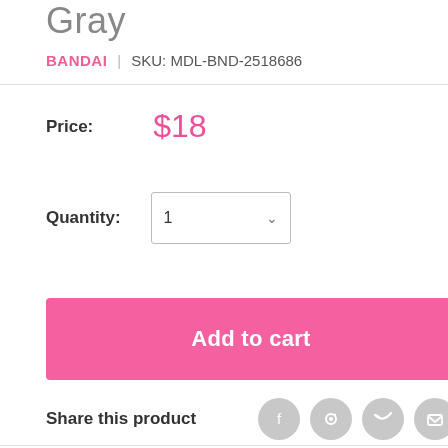Gray
BANDAI | SKU: MDL-BND-2518686
Price: $18
Quantity: 1
Add to cart
Share this product